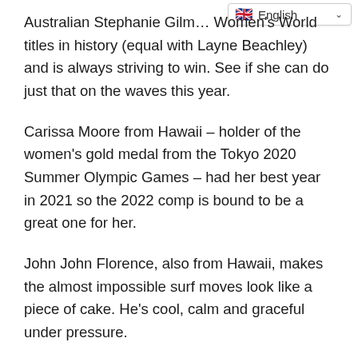[Figure (other): Language selector dropdown showing UK flag and 'English' label with chevron]
Australian Stephanie Gilm… Women's World titles in history (equal with Layne Beachley) and is always striving to win. See if she can do just that on the waves this year.
Carissa Moore from Hawaii – holder of the women's gold medal from the Tokyo 2020 Summer Olympic Games – had her best year in 2021 so the 2022 comp is bound to be a great one for her.
John John Florence, also from Hawaii, makes the almost impossible surf moves look like a piece of cake. He's cool, calm and graceful under pressure.